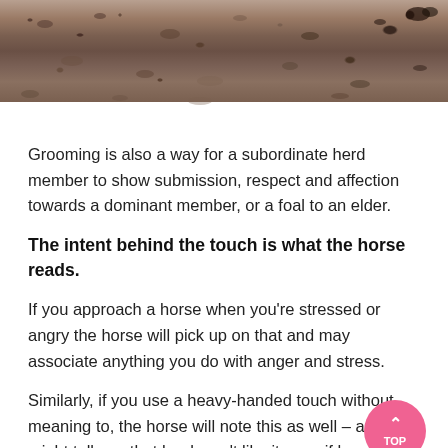[Figure (photo): Partial photo of dirt/soil ground, shown as a horizontal strip at the top of the page with a pink bar at the very top edge.]
Grooming is also a way for a subordinate herd member to show submission, respect and affection towards a dominant member, or a foal to an elder.
The intent behind the touch is what the horse reads.
If you approach a horse when you're stressed or angry the horse will pick up on that and may associate anything you do with anger and stress.
Similarly, if you use a heavy-handed touch without meaning to, the horse will note this as well – and might tell you that he doesn't like it even if he tolerates